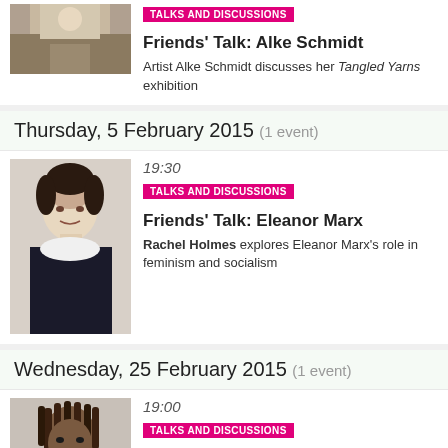[Figure (photo): Partial photo of artist Alke Schmidt (cropped at top)]
TALKS AND DISCUSSIONS
Friends' Talk: Alke Schmidt
Artist Alke Schmidt discusses her Tangled Yarns exhibition
Thursday, 5 February 2015 (1 event)
[Figure (photo): Black and white Victorian-era portrait photograph of Eleanor Marx]
19:30
TALKS AND DISCUSSIONS
Friends' Talk: Eleanor Marx
Rachel Holmes explores Eleanor Marx's role in feminism and socialism
Wednesday, 25 February 2015 (1 event)
[Figure (photo): Portrait photograph of Yinka Shonibare MBE with dreadlocks and grey beard]
19:00
TALKS AND DISCUSSIONS
Q&A with Yinka Shonibare MBE
The internationally-renowned artist discusses his work with Zoe Whitley
Wednesday, 18 March 2015 (1 event)
[Figure (photo): Photo with red background showing objects including a green bottle]
15:00
FREE TOURS